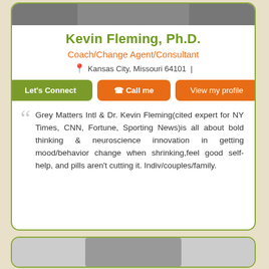[Figure (photo): Profile photo of Kevin Fleming, Ph.D. at top of card]
Kevin Fleming, Ph.D.
Coach/Change Agent/Consultant
Kansas City, Missouri 64101 |
Let's Connect | Call me | View my profile
Grey Matters Intl & Dr. Kevin Fleming(cited expert for NY Times, CNN, Fortune, Sporting News)is all about bold thinking & neuroscience innovation in getting mood/behavior change when shrinking,feel good self-help, and pills aren't cutting it. Indiv/couples/family.
[Figure (photo): Partial photo visible at bottom of page in second card]